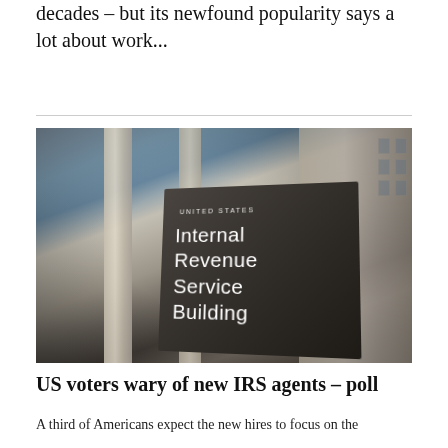decades – but its newfound popularity says a lot about work...
[Figure (photo): Exterior photo of the United States Internal Revenue Service Building sign, showing a dark monolithic sign reading 'UNITED STATES / Internal Revenue Service Building' in front of a neoclassical government building with columns, shot from a low angle.]
US voters wary of new IRS agents – poll
A third of Americans expect the new hires to focus on the